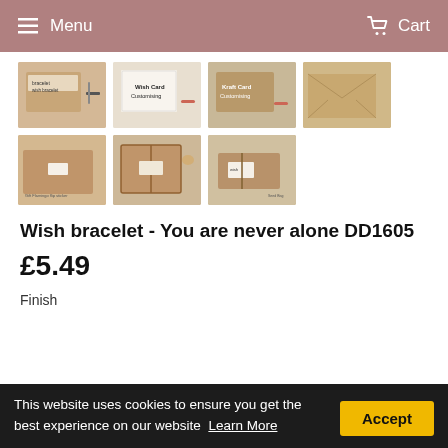Menu   Cart
[Figure (photo): Product thumbnail grid showing wish bracelet product images - cards, kraft envelopes, wrapped packages]
Wish bracelet - You are never alone DD1605
£5.49
Finish
This website uses cookies to ensure you get the best experience on our website   Learn More   Accept